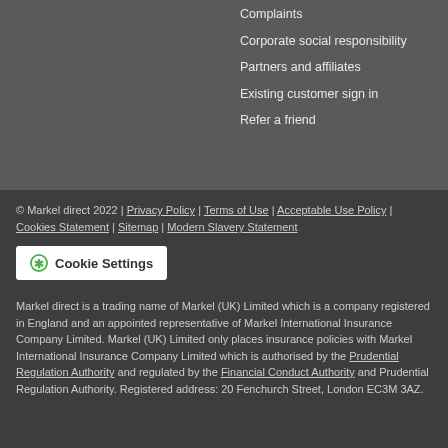Complaints
Corporate social responsibility
Partners and affiliates
Existing customer sign in
Refer a friend
© Markel direct 2022 | Privacy Policy | Terms of Use | Acceptable Use Policy | Cookies Statement | Sitemap | Modern Slavery Statement
Cookie Settings
Markel direct is a trading name of Markel (UK) Limited which is a company registered in England and an appointed representative of Markel International Insurance Company Limited. Markel (UK) Limited only places insurance policies with Markel International Insurance Company Limited which is authorised by the Prudential Regulation Authority and regulated by the Financial Conduct Authority and Prudential Regulation Authority. Registered address: 20 Fenchurch Street, London EC3M 3AZ.